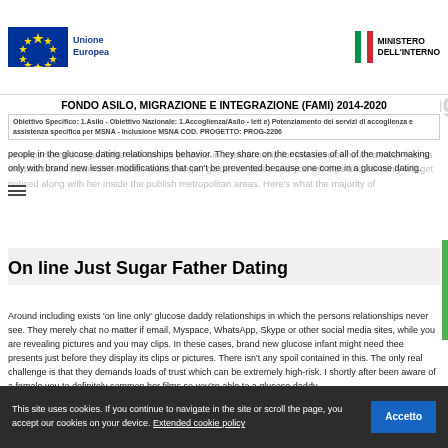Unione Europea | MINISTERO DELL'INTERNO
Regular Glucose Father Matchmaking
FONDO ASILO, MIGRAZIONE E INTEGRAZIONE (FAMI) 2014-2020
Obiettivo Specifico: 1.Asilo - Obiettivo Nazionale: 1.Accoglienza/Asilo - lett e) Potenziamento dei servizi di accoglienza e assistenza specifica per MSNA - Inclusione MSNA COD. PROGETTO: PROG-2206
people in the glucose dating relationships behavior. They share on the ecstasies of all of the matchmaking only with brand new lesser modifications that can't be prevented because one come in a glucose dating.
On line Just Sugar Father Dating
Around including exists 'on line only' glucose daddy relationships in which the persons relationships never see. They merely chat no matter if email, Myspace, WhatsApp, Skype or other social media sites, while you are revealing pictures and you may clips. In these cases, brand new glucose infant might need thee presents just before they display its clips or pictures. There isn't any spoil contained in this. The only real challenge is that they demands loads of trust which can be extremely high-risk. I shortly after been aware of a female you to definitely common her films so you're able to a glucose daddy
This site uses cookies. If you continue to navigate in the site or scroll the page, you accept our cookies on your device. Extended cookie policy  Accetto